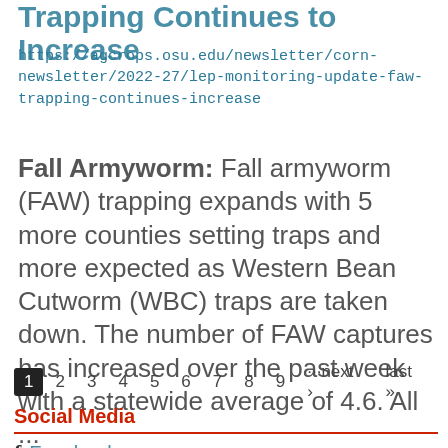Trapping Continues to Increase
https://agcrops.osu.edu/newsletter/corn-newsletter/2022-27/lep-monitoring-update-faw-trapping-continues-increase
Fall Armyworm:   Fall armyworm (FAW) trapping expands with 5 more counties setting traps and more expected as Western Bean Cutworm (WBC) traps are taken down. The number of FAW captures has increased over the past week with a statewide average of 4.6. All ...
1  2  3  4  5  6  7  8  9  ···next ›  last »
Social Media
Facebook